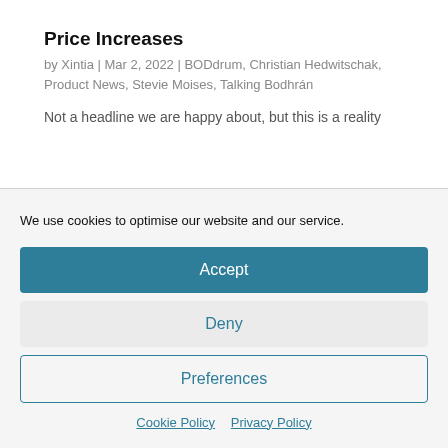Price Increases
by Xintia | Mar 2, 2022 | BODdrum, Christian Hedwitschak, Product News, Stevie Moises, Talking Bodhrán
Not a headline we are happy about, but this is a reality
We use cookies to optimise our website and our service.
Accept
Deny
Preferences
Cookie Policy  Privacy Policy